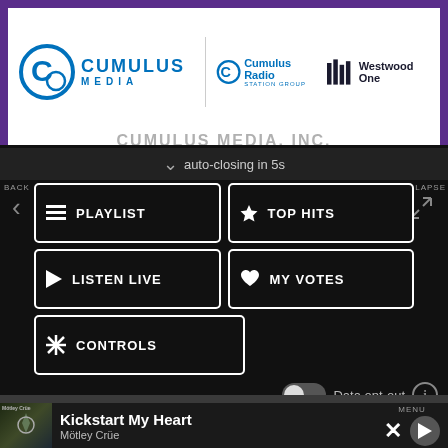[Figure (logo): Cumulus Media logo with circle C icon, Cumulus Radio Station Group logo, and Westwood One logo on white background]
CUMULUS MEDIA, INC.
auto-closing in 5s
BACK
PLAYLIST
TOP HITS
LISTEN LIVE
MY VOTES
CONTROLS
COLLAPSE
Data opt-out
Kickstart My Heart
Mötley Crüe
MENU